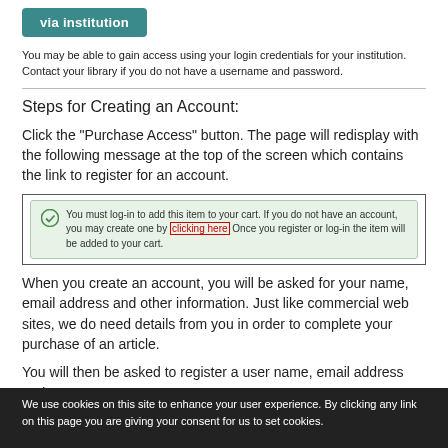[Figure (screenshot): Teal/dark-cyan button labeled 'via institution']
You may be able to gain access using your login credentials for your institution. Contact your library if you do not have a username and password.
Steps for Creating an Account:
Click the "Purchase Access" button.  The page will redisplay with the following message at the top of the screen which contains the link to register for an account.
[Figure (screenshot): Green alert box: 'You must log-in to add this item to your cart. If you do not have an account, you may create one by clicking here. Once you register or log-in the item will be added to your cart.']
When you create an account, you will be asked for your name, email address and other information.  Just like commercial web sites, we do need details from you in order to complete your purchase of an article.
You will then be asked to register a user name, email address and
We use cookies on this site to enhance your user experience. By clicking any link on this page you are giving your consent for us to set cookies.